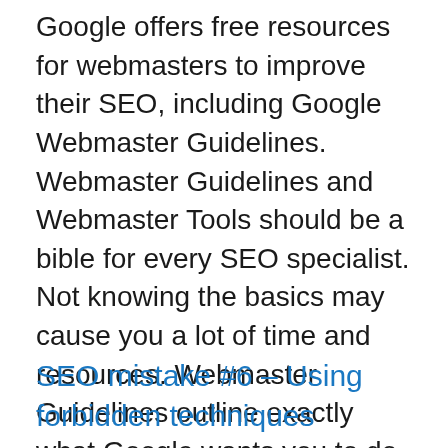Google offers free resources for webmasters to improve their SEO, including Google Webmaster Guidelines. Webmaster Guidelines and Webmaster Tools should be a bible for every SEO specialist. Not knowing the basics may cause you a lot of time and resources. Webmaster Guidelines outline exactly what Google wants you to do to achieve better rankings. Webmaster Tools provide you with important data to help you better understand what's going on with your site and how to solve common problems.
SEO mistake #6 – Using forbidden techniques